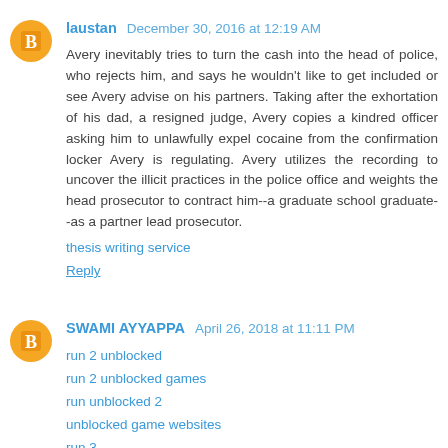laustan  December 30, 2016 at 12:19 AM
Avery inevitably tries to turn the cash into the head of police, who rejects him, and says he wouldn't like to get included or see Avery advise on his partners. Taking after the exhortation of his dad, a resigned judge, Avery copies a kindred officer asking him to unlawfully expel cocaine from the confirmation locker Avery is regulating. Avery utilizes the recording to uncover the illicit practices in the police office and weights the head prosecutor to contract him--a graduate school graduate--as a partner lead prosecutor.
thesis writing service
Reply
SWAMI AYYAPPA  April 26, 2018 at 11:11 PM
run 2 unblocked
run 2 unblocked games
run unblocked 2
unblocked game websites
run 3